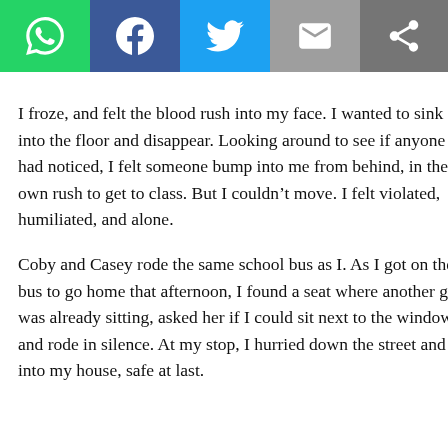[Social share toolbar: WhatsApp, Facebook, Twitter, Email, Share]
I froze, and felt the blood rush into my face. I wanted to sink into the floor and disappear. Looking around to see if anyone had noticed, I felt someone bump into me from behind, in their own rush to get to class. But I couldn't move. I felt violated, humiliated, and alone.
Coby and Casey rode the same school bus as I. As I got on the bus to go home that afternoon, I found a seat where another girl was already sitting, asked her if I could sit next to the window, and rode in silence. At my stop, I hurried down the street and into my house, safe at last.